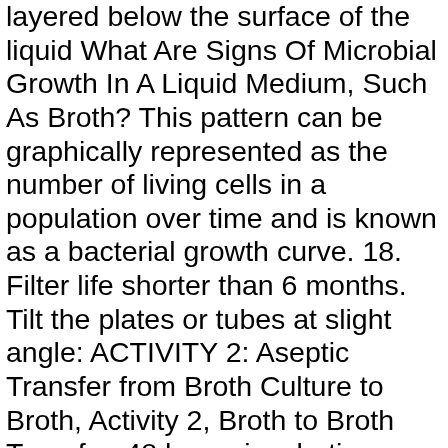layered below the surface of the liquid What Are Signs Of Microbial Growth In A Liquid Medium, Such As Broth? This pattern can be graphically represented as the number of living cells in a population over time and is known as a bacterial growth curve. 18. Filter life shorter than 6 months. Tilt the plates or tubes at slight angle: ACTIVITY 2: Aseptic Transfer from Broth Culture to Broth, Activity 2, Broth to Broth Transfer, 48 hours incubation, ACTIVITY 3: Aseptic Transfer from Broth Culture to Slant, Activity 3, Broth to Slant, 48 hours incubation, ACTIVITY 4: Aseptic Transfer from Broth Culture to Plate, Activity 4, Broth to Plate, 48 hours incubation, Evaluation of Antiseptics and Disinfectants Lab Report. Each has specific advantages and disadvantages. Different organisms will exhibit varying growth characteristics in broth. Cell and viral growth media used are liquid broth and solid, what are the signs of growth in a liquid medium agar temperature and pH • BIO…) and colloid (